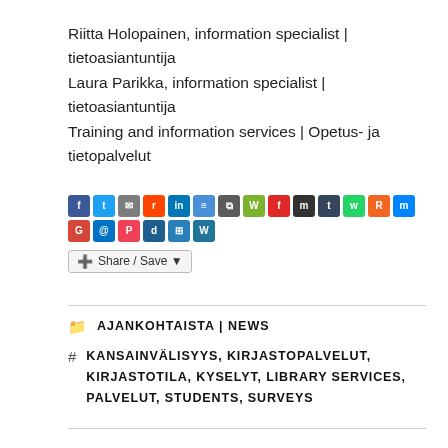Riitta Holopainen, information specialist | tietoasiantuntija
Laura Parikka, information specialist | tietoasiantuntija
Training and information services | Opetus- ja tietopalvelut
[Figure (infographic): Social sharing icons row with various social media platforms (Facebook, Twitter, Email, Reddit, LinkedIn, etc.) and a Share/Save button]
AJANKOHTAISTA | NEWS
KANSAINVÄLISYYS, KIRJASTOPALVELUT, KIRJASTOTILA, KYSELYT, LIBRARY SERVICES, PALVELUT, STUDENTS, SURVEYS